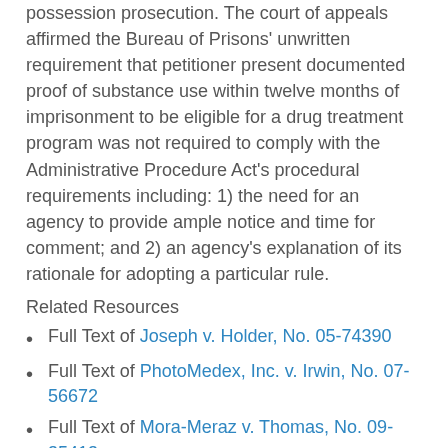possession prosecution. The court of appeals affirmed the Bureau of Prisons' unwritten requirement that petitioner present documented proof of substance use within twelve months of imprisonment to be eligible for a drug treatment program was not required to comply with the Administrative Procedure Act's procedural requirements including: 1) the need for an agency to provide ample notice and time for comment; and 2) an agency's explanation of its rationale for adopting a particular rule.
Related Resources
Full Text of Joseph v. Holder, No. 05-74390
Full Text of PhotoMedex, Inc. v. Irwin, No. 07-56672
Full Text of Mora-Meraz v. Thomas, No. 09-35413
Convention Against Torture
Content For You